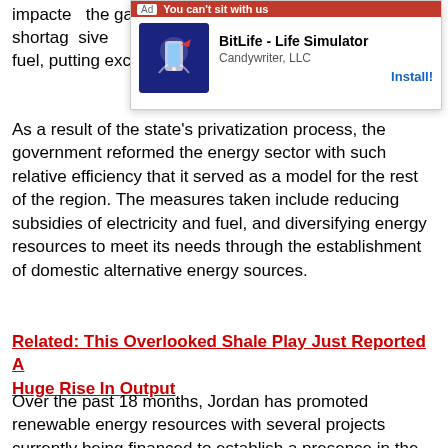impacted... the gas shortage... sive fuel, putting excessive pressure on the country's budget.
[Figure (screenshot): Advertisement overlay: BitLife - Life Simulator by Candywriter, LLC with Install! button]
As a result of the state's privatization process, the government reformed the energy sector with such relative efficiency that it served as a model for the rest of the region. The measures taken include reducing subsidies of electricity and fuel, and diversifying energy resources to meet its needs through the establishment of domestic alternative energy sources.
Related: This Overlooked Shale Play Just Reported A Huge Rise In Output
Over the past 18 months, Jordan has promoted renewable energy resources with several projects currently being financed to establish a presence in the renewables sector. For example, the Jordanian state is continuously developing solar energy projects, wastewater treatment...